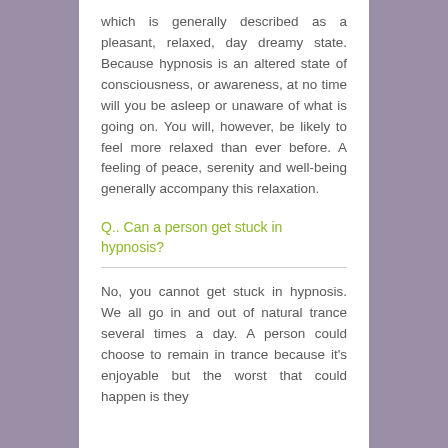which is generally described as a pleasant, relaxed, day dreamy state. Because hypnosis is an altered state of consciousness, or awareness, at no time will you be asleep or unaware of what is going on. You will, however, be likely to feel more relaxed than ever before. A feeling of peace, serenity and well-being generally accompany this relaxation.
Q.. Can a person get stuck in hypnosis?
No, you cannot get stuck in hypnosis. We all go in and out of natural trance several times a day. A person could choose to remain in trance because it's enjoyable but the worst that could happen is they...